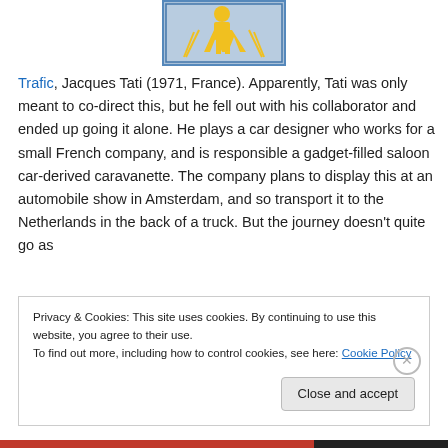[Figure (photo): Partial image of what appears to be a movie cover or poster with yellow figures on a blue/grey background, partially visible at the top of the page.]
Trafic, Jacques Tati (1971, France). Apparently, Tati was only meant to co-direct this, but he fell out with his collaborator and ended up going it alone. He plays a car designer who works for a small French company, and is responsible a gadget-filled saloon car-derived caravanette. The company plans to display this at an automobile show in Amsterdam, and so transport it to the Netherlands in the back of a truck. But the journey doesn't quite go as
Privacy & Cookies: This site uses cookies. By continuing to use this website, you agree to their use.
To find out more, including how to control cookies, see here: Cookie Policy